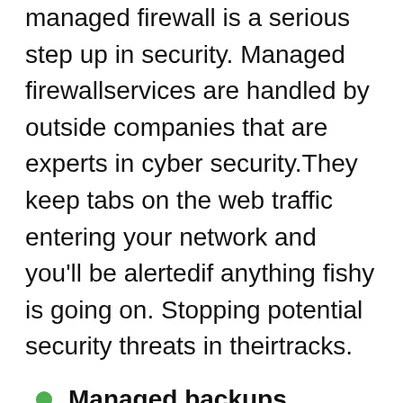managed firewall is a serious step up in security. Managed firewallservices are handled by outside companies that are experts in cyber security.They keep tabs on the web traffic entering your network and you'll be alertedif anything fishy is going on. Stopping potential security threats in theirtracks.
Managed backups
Even with the best security, you can still endup getting